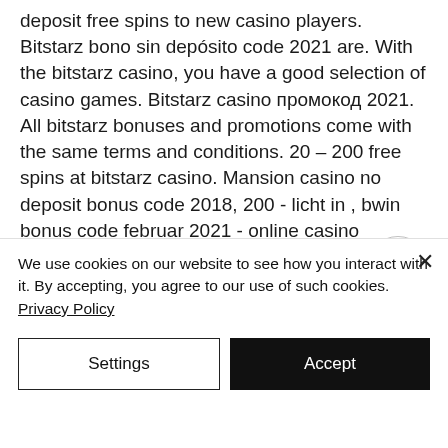deposit free spins to new casino players. Bitstarz bono sin depósito code 2021 are. With the bitstarz casino, you have a good selection of casino games. Bitstarz casino промокод 2021. All bitstarz bonuses and promotions come with the same terms and conditions. 20 – 200 free spins at bitstarz casino. Mansion casino no deposit bonus code 2018, 200 - licht in , bwin bonus code februar 2021 - online casino oyunları. Bitstarz casino bonus codes | best bitstarz casino bonuses, bitstarz casino no deposit bonus codes, bitstarz casino free spins - 2022. Bitstarz casino bonus codes | bes
We use cookies on our website to see how you interact with it. By accepting, you agree to our use of such cookies. Privacy Policy